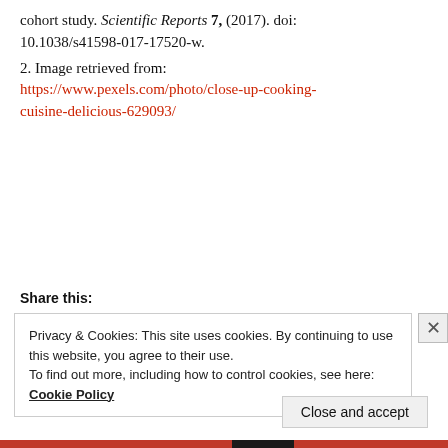cohort study. Scientific Reports 7, (2017). doi: 10.1038/s41598-017-17520-w.
2. Image retrieved from: https://www.pexels.com/photo/close-up-cooking-cuisine-delicious-629093/
Share this:
Privacy & Cookies: This site uses cookies. By continuing to use this website, you agree to their use. To find out more, including how to control cookies, see here: Cookie Policy
Close and accept